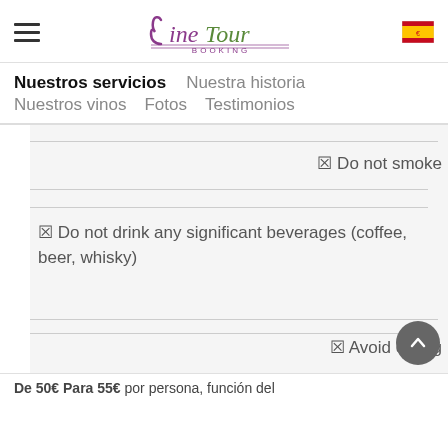Wine Tour Booking
Nuestros servicios   Nuestra historia   Nuestros vinos   Fotos   Testimonios
☑ Do not smoke
☑ Do not drink any significant beverages (coffee, beer, whisky)
☑ Avoid eating
De 50€ Para 55€ por persona, función del